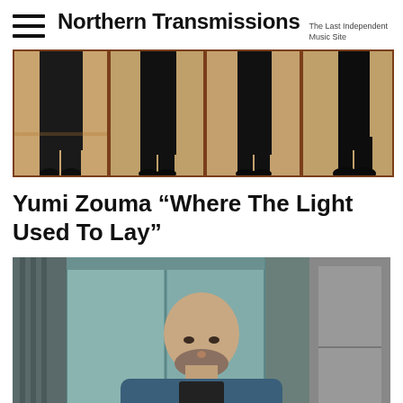Northern Transmissions — The Last Independent Music Site
[Figure (photo): Four-panel photo strip showing lower halves of people in black clothing and boots against a warm tan/pink background, each panel framed with dark brown borders]
Yumi Zouma “Where The Light Used To Lay”
[Figure (photo): Portrait photo of a bald man with a beard wearing a blue hoodie and black t-shirt, standing in front of teal-colored locker/cabinet doors]